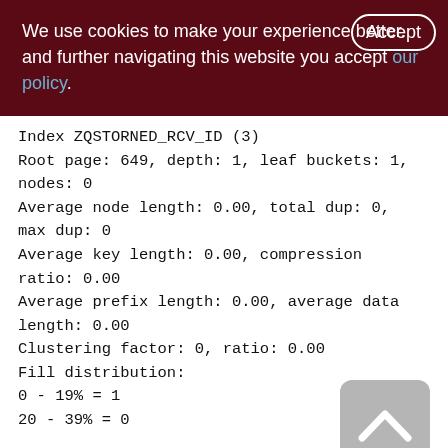We use cookies to make your experience better. By using and further navigating this website you accept our policy.
Index ZQSTORNED_RCV_ID (3)
Root page: 649, depth: 1, leaf buckets: 1, nodes: 0
Average node length: 0.00, total dup: 0, max dup: 0
Average key length: 0.00, compression ratio: 0.00
Average prefix length: 0.00, average data length: 0.00
Clustering factor: 0, ratio: 0.00
Fill distribution:
0 - 19% = 1
20 - 39% = 0